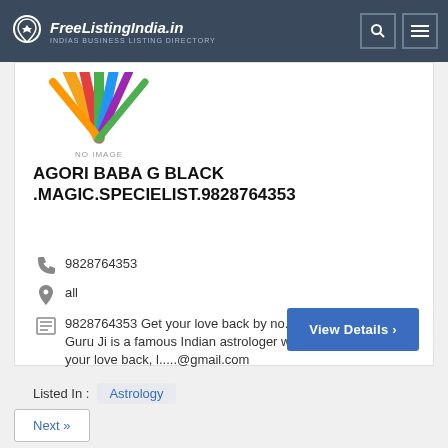FreeListingIndia.in — INDIAS BUSINESS LISTING DIRECTORY
[Figure (logo): FreeListingIndia.in logo with pin icon and text 'INDIAS BUSINESS LISTING DIRECTORY' on dark blue header]
[Figure (illustration): Colorful peacock feather / sunburst graphic with 'NO IMAGE' text below]
AGORI BABA G BLACK .MAGIC.SPECIELIST.9828764353
9828764353
all
9828764353 Get your love back by no.1 vashikaran specilist. Guru Ji is a famous Indian astrologer who can help to get your love back, l.....@gmail.com
Listed In : Astrology
View Details ›
Next »